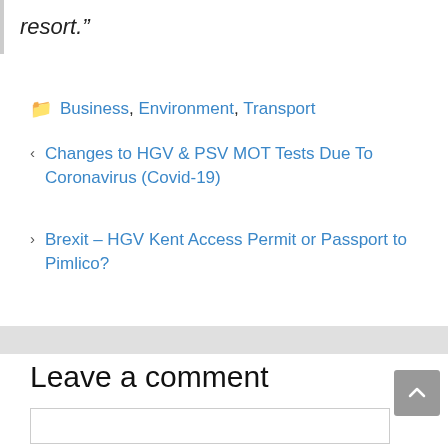resort.”
Business, Environment, Transport
< Changes to HGV & PSV MOT Tests Due To Coronavirus (Covid-19)
> Brexit – HGV Kent Access Permit or Passport to Pimlico?
Leave a comment